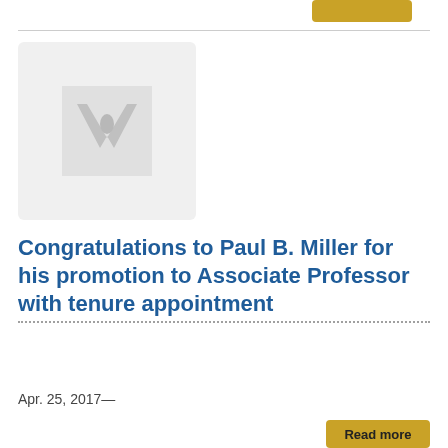[Figure (logo): Gold/yellow button at top right corner, partially visible]
[Figure (logo): Placeholder image box with a Vanderbilt-style V logo watermark in gray on light gray background]
Congratulations to Paul B. Miller for his promotion to Associate Professor with tenure appointment
Apr. 25, 2017—
[Figure (other): Gold 'Read more' button at bottom right]